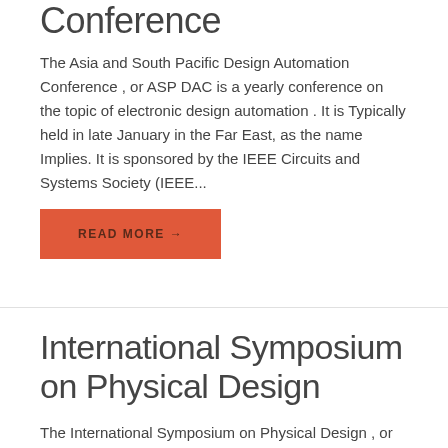Conference
The Asia and South Pacific Design Automation Conference , or ASP DAC is a yearly conference on the topic of electronic design automation . It is Typically held in late January in the Far East, as the name Implies. It is sponsored by the IEEE Circuits and Systems Society (IEEE...
READ MORE →
International Symposium on Physical Design
The International Symposium on Physical Design , or ISPD is a yearly conference on the topic of electronic design automation , concentrating on